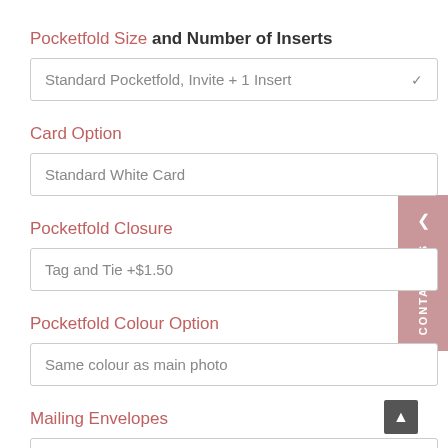Pocketfold Size and Number of Inserts
Standard Pocketfold, Invite + 1 Insert
Card Option
Standard White Card
Pocketfold Closure
Tag and Tie +$1.50
Pocketfold Colour Option
Same colour as main photo
Mailing Envelopes
Deluxe White Envelopes